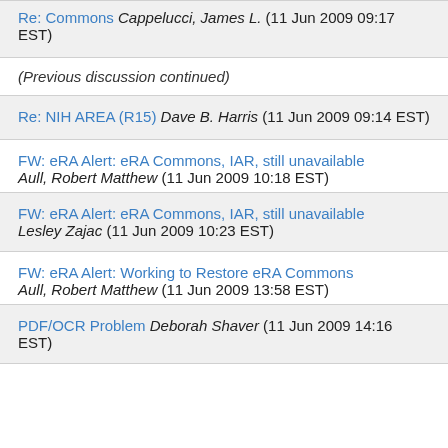Re: Commons Cappelucci, James L. (11 Jun 2009 09:17 EST)
(Previous discussion continued)
Re: NIH AREA (R15) Dave B. Harris (11 Jun 2009 09:14 EST)
FW: eRA Alert: eRA Commons, IAR, still unavailable Aull, Robert Matthew (11 Jun 2009 10:18 EST)
FW: eRA Alert: eRA Commons, IAR, still unavailable Lesley Zajac (11 Jun 2009 10:23 EST)
FW: eRA Alert: Working to Restore eRA Commons Aull, Robert Matthew (11 Jun 2009 13:58 EST)
PDF/OCR Problem Deborah Shaver (11 Jun 2009 14:16 EST)